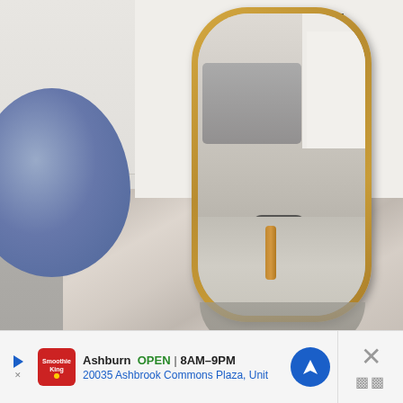[Figure (photo): Interior room photo showing a gold-framed floor mirror leaning against a white wall/cabinet. The mirror reflects a bedroom scene with a grey upholstered bed and white pillow/blanket. A blue textured pouf sits to the left of the mirror. A patterned grey and pink rug covers the floor in the foreground. A brand sticker is visible on the mirror.]
Ashburn  OPEN  8AM–9PM
20035 Ashbrook Commons Plaza, Unit